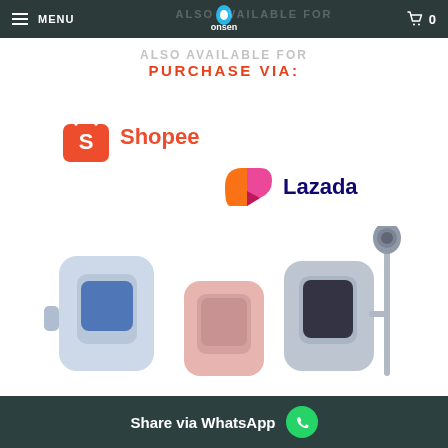MENU | Onsen logo | Cart 0
ALSO AVAILABLE FOR PURCHASE VIA:
[Figure (logo): Shopee logo with orange shopping bag icon and Shopee text]
[Figure (logo): Lazada logo with heart-shaped icon and Lazada text]
[Figure (photo): Onsen water heater products shown at the bottom of the page]
Share via WhatsApp